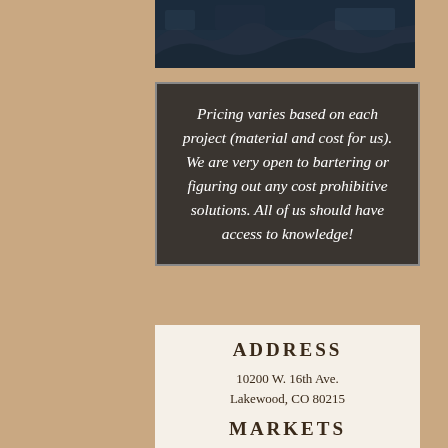[Figure (photo): Aerial or landscape photo, dark blue/teal tones, mountains or water visible at top of page]
Pricing varies based on each project (material and cost for us). We are very open to bartering or figuring out any cost prohibitive solutions. All of us should have access to knowledge!
ADDRESS
10200 W. 16th Ave.
Lakewood, CO 80215
MARKETS
South Pearl St Farmers Market
Sundays 9am - 1pm
City Park Farmers Market
Saturdays 8am - 1pm